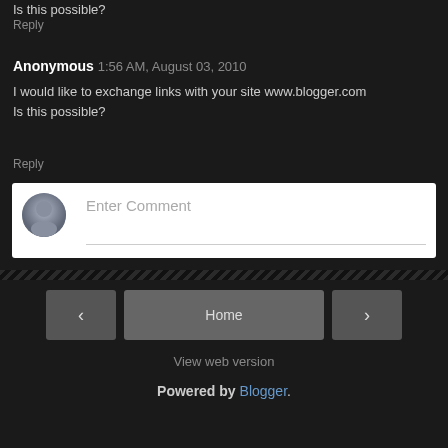Is this possible?
Reply
Anonymous 1:56 AM, August 03, 2010
I would like to exchange links with your site www.blogger.com
Is this possible?
Reply
[Figure (other): Enter Comment input box with avatar placeholder icon]
< Home > View web version Powered by Blogger.